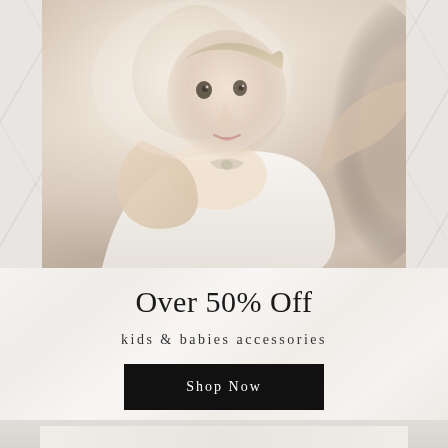[Figure (photo): A baby dressed in white clothing being held up by an adult. The baby is looking at the camera, and adult hands are adjusting the baby's collar or clothing near the neck. Soft, light background with warm tones.]
Over 50% Off
kids & babies accessories
Shop Now